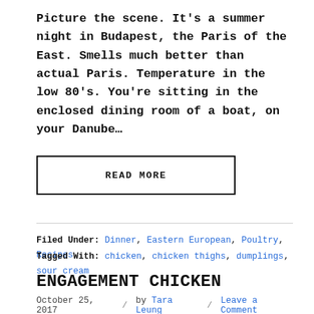Picture the scene. It's a summer night in Budapest, the Paris of the East. Smells much better than actual Paris. Temperature in the low 80's. You're sitting in the enclosed dining room of a boat, on your Danube...
READ MORE
Filed Under: Dinner, Eastern European, Poultry, Recipes
Tagged With: chicken, chicken thighs, dumplings, sour cream
ENGAGEMENT CHICKEN
October 25, 2017 / by Tara Leung / Leave a Comment